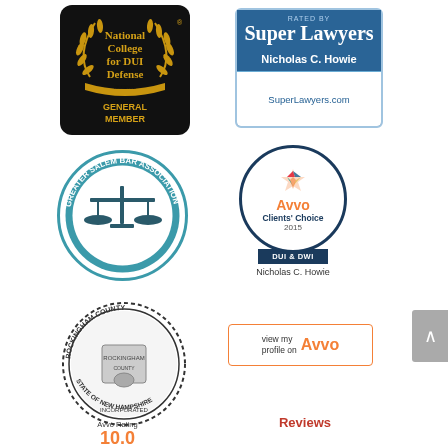[Figure (logo): National College for DUI Defense - General Member badge, black background with gold laurel wreath]
[Figure (logo): Rated by Super Lawyers - Nicholas C. Howie - SuperLawyers.com badge, blue background]
[Figure (logo): Greater Salem Bar Association circular seal, teal color with scales of justice, Est. 1983]
[Figure (logo): Avvo Clients' Choice 2015 DUI & DWI badge for Nicholas C. Howie]
[Figure (logo): Rockingham County Bar - State of New Hampshire circular seal/stamp]
[Figure (logo): View my profile on Avvo button with orange border]
[Figure (logo): Avvo Rating badge - partially visible at bottom]
[Figure (logo): Reviews badge - partially visible at bottom right]